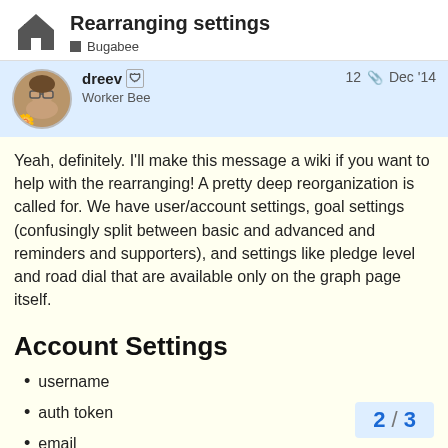Rearranging settings — Bugabee
dreev  Worker Bee   12  Dec '14
Yeah, definitely. I'll make this message a wiki if you want to help with the rearranging! A pretty deep reorganization is called for. We have user/account settings, goal settings (confusingly split between basic and advanced and reminders and supporters), and settings like pledge level and road dial that are available only on the graph page itself.
Account Settings
username
auth token
email
nickname
full name
url
2 / 3